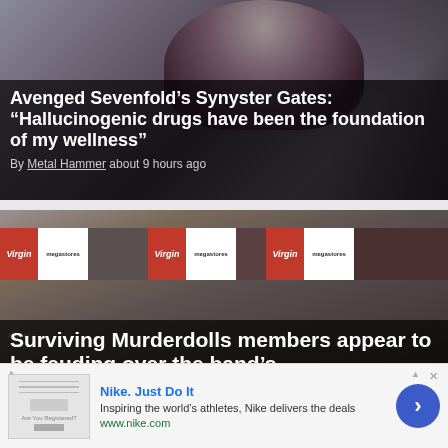[Figure (photo): Photo of Synyster Gates from Avenged Sevenfold performing with guitar, wearing black leather jacket]
Avenged Sevenfold’s Synyster Gates: “Hallucinogenic drugs have been the foundation of my wellness”
By Metal Hammer about 9 hours ago
[Figure (photo): Photo of Murderdolls band members posing in front of Virgin Megastore signage]
Surviving Murderdolls members appear to be feuding over the band’s
Nike. Just Do It
Inspiring the world’s athletes, Nike delivers the deals
www.nike.com